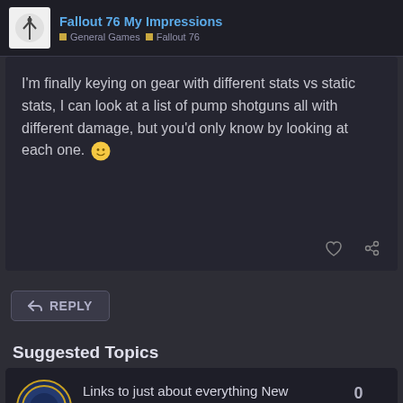Fallout 76 My Impressions | General Games | Fallout 76
I'm finally keying on gear with different stats vs static stats, I can look at a list of pump shotguns all with different damage, but you'd only know by looking at each one. 🙂
REPLY
Suggested Topics
Links to just about everything New World | New World | 0 | 3/3